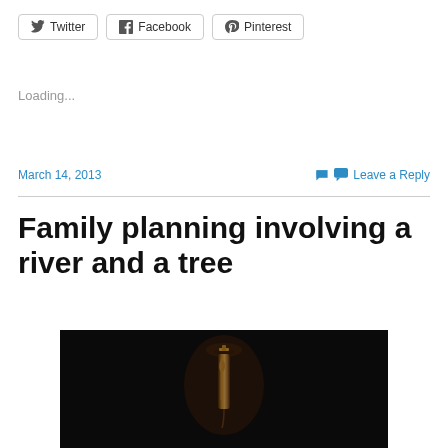Twitter
Facebook
Pinterest
Loading...
March 14, 2013
Leave a Reply
Family planning involving a river and a tree
[Figure (photo): Dark photograph showing a metallic object (possibly a bottle or instrument) lit against a black background]